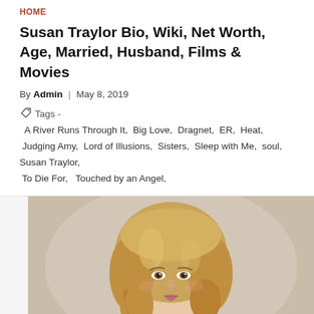HOME
Susan Traylor Bio, Wiki, Net Worth, Age, Married, Husband, Films & Movies
By Admin | May 8, 2019
Tags - A River Runs Through It, Big Love, Dragnet, ER, Heat, Judging Amy, Lord of Illusions, Sisters, Sleep with Me, soul, Susan Traylor, To Die For, Touched by an Angel,
[Figure (photo): Portrait photo of Susan Traylor, a woman with blonde wavy hair wearing a black outfit and pearl necklace, posed against a neutral background]